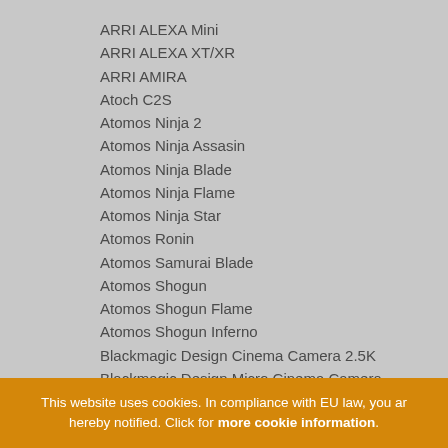ARRI ALEXA Mini
ARRI ALEXA XT/XR
ARRI AMIRA
Atoch C2S
Atomos Ninja 2
Atomos Ninja Assasin
Atomos Ninja Blade
Atomos Ninja Flame
Atomos Ninja Star
Atomos Ronin
Atomos Samurai Blade
Atomos Shogun
Atomos Shogun Flame
Atomos Shogun Inferno
Blackmagic Design Cinema Camera 2.5K
Blackmagic Design Micro Cinema Camera
Blackmagic Design Pocket Cinema Camera
Blackmagic Design Pocket Cinema Camera 4K
This website uses cookies. In compliance with EU law, you are hereby notified. Click for more cookie information.